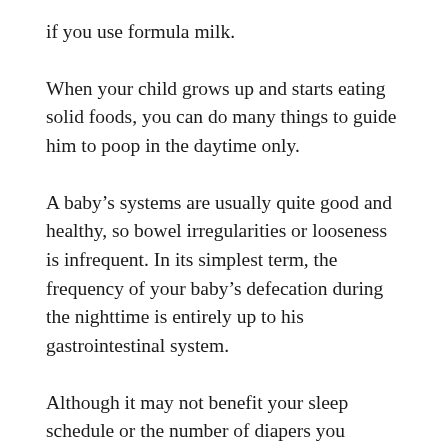if you use formula milk.
When your child grows up and starts eating solid foods, you can do many things to guide him to poop in the daytime only.
A baby’s systems are usually quite good and healthy, so bowel irregularities or looseness is infrequent. In its simplest term, the frequency of your baby’s defecation during the nighttime is entirely up to his gastrointestinal system.
Although it may not benefit your sleep schedule or the number of diapers you change, you should know that the nighttime poops indicate a balanced and